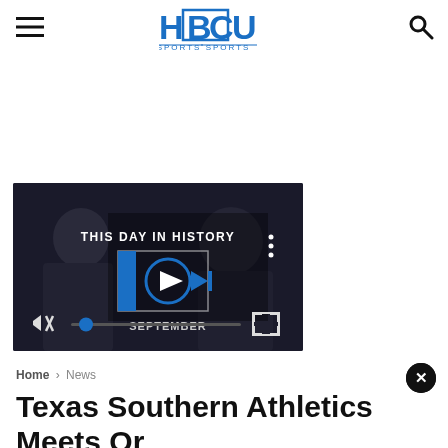HBCU SPORTS — navigation header with menu and search icons
[Figure (screenshot): Video player thumbnail showing 'THIS DAY IN HISTORY' with two people in dark background. Video controls visible: mute icon, blue progress dot, play button, skip button, fullscreen icon. Text 'SEPTEMBER' visible at bottom.]
Home > News
Texas Southern Athletics Meets Or